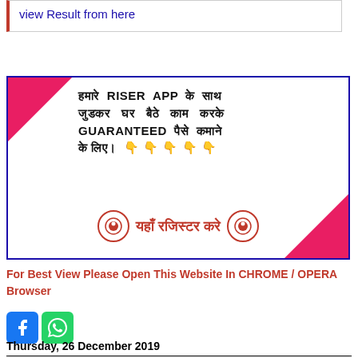view Result from here
[Figure (infographic): Riser App advertisement banner in Hindi and English. Text: हमारे RISER APP के साथ जुडकर घर बैठे काम करके GUARANTEED पैसे कमाने के लिए। 👇👇👇👇👇. Button: यहाँ रजिस्टर करे]
For Best View Please Open This Website In CHROME / OPERA Browser
[Figure (other): Facebook and WhatsApp social media icon buttons]
Thursday, 26 December 2019